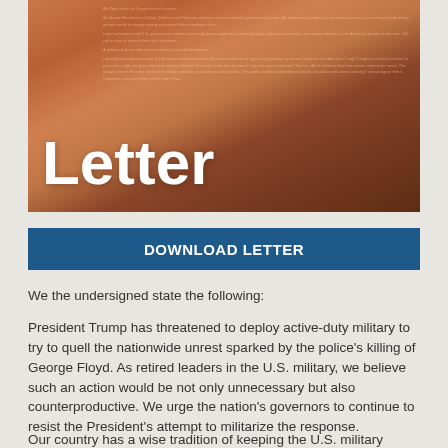[Figure (photo): A close-up photo of a letter document with blurred text, overlaid with the word 'Letter' in large white bold font. The image has a warm brownish-orange tint.]
DOWNLOAD LETTER
We the undersigned state the following:
President Trump has threatened to deploy active-duty military to try to quell the nationwide unrest sparked by the police's killing of George Floyd. As retired leaders in the U.S. military, we believe such an action would be not only unnecessary but also counterproductive. We urge the nation's governors to continue to resist the President's attempt to militarize the response.
Our country has a wise tradition of keeping the U.S. military